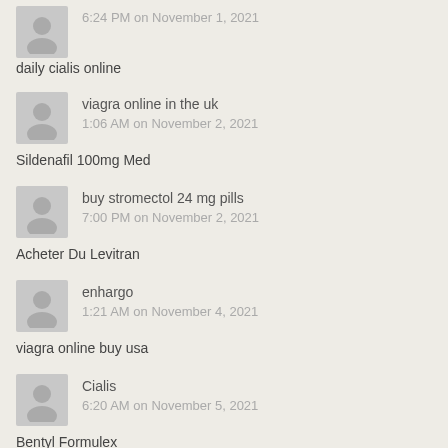6:24 PM on November 1, 2021
daily cialis online
viagra online in the uk
1:06 AM on November 2, 2021
Sildenafil 100mg Med
buy stromectol 24 mg pills
7:00 PM on November 2, 2021
Acheter Du Levitran
enhargo
1:21 AM on November 4, 2021
viagra online buy usa
Cialis
6:20 AM on November 5, 2021
Bentyl Formulex